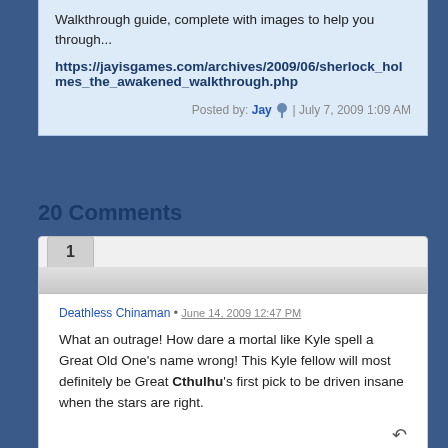Walkthrough guide, complete with images to help you through...
https://jayisgames.com/archives/2009/06/sherlock_holmes_the_awakened_walkthrough.php
Posted by: Jay | July 7, 2009 1:09 AM
20 Comments
Deathless Chinaman • June 14, 2009 12:47 PM
What an outrage! How dare a mortal like Kyle spell a Great Old One's name wrong! This Kyle fellow will most definitely be Great Cthulhu's first pick to be driven insane when the stars are right.